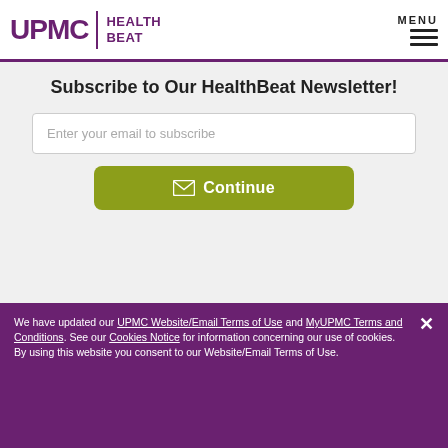UPMC | HEALTH BEAT
Subscribe to Our HealthBeat Newsletter!
Enter your email to subscribe
Continue
Get Healthy Tips Sent to Your Phone!
We have updated our UPMC Website/Email Terms of Use and MyUPMC Terms and Conditions. See our Cookies Notice for information concerning our use of cookies. By using this website you consent to our Website/Email Terms of Use.